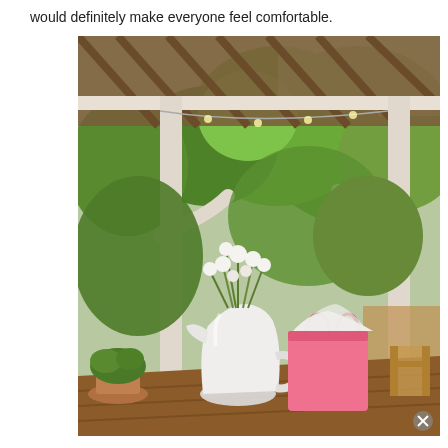would definitely make everyone feel comfortable.
[Figure (photo): Outdoor gazebo/pergola scene with a wooden table in the foreground holding a white ceramic pitcher with white flowers and a pink gift bag with tissue paper. Lush green trees and garden visible in the background. A wooden folding chair is on the right side. String lights hang from the pergola structure.]